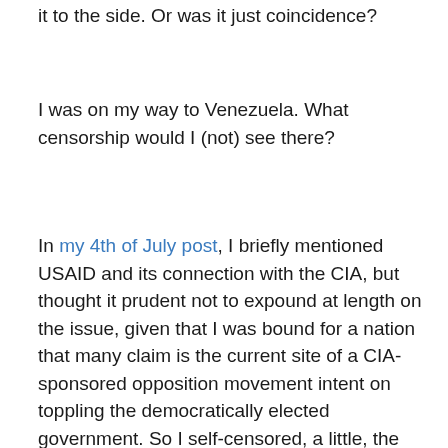it to the side. Or was it just coincidence?
I was on my way to Venezuela. What censorship would I (not) see there?
In my 4th of July post, I briefly mentioned USAID and its connection with the CIA, but thought it prudent not to expound at length on the issue, given that I was bound for a nation that many claim is the current site of a CIA-sponsored opposition movement intent on toppling the democratically elected government. So I self-censored, a little, the product of an environment and notoriety whose veracity I could not verify.